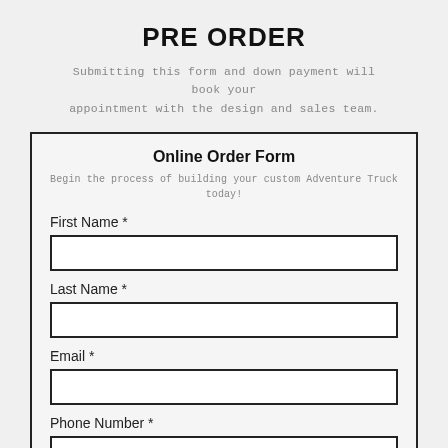PRE ORDER
Submitting this form and down payment will book your appointment with the design and sales team.
Online Order Form
Begin the process of building your custom Adventure Truck today!
First Name *
Last Name *
Email *
Phone Number *